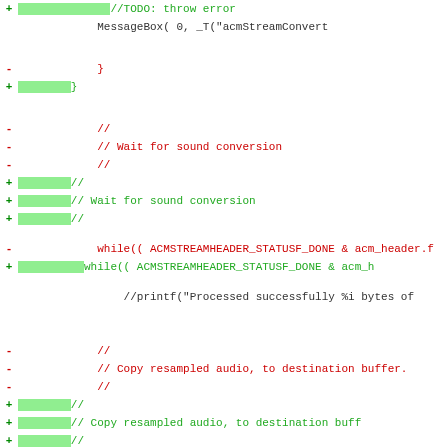[Figure (screenshot): Code diff view showing changes to audio processing code. Red lines (prefixed with -) show removed code, green lines (prefixed with +) show added code with green highlighted indentation blocks. Content includes: MessageBox call, closing brace, comment block for Wait for sound conversion, while loop with ACMSTREAMHEADER_STATUSF_DONE, printf statement, comment block for Copy resampled audio, and //memcpy call.]